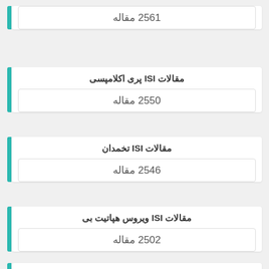2561 مقاله
مقالات ISI پری اکلامپسی
2550 مقاله
مقالات ISI تخمدان
2546 مقاله
مقالات ISI ویروس هپاتیت بی
2502 مقاله